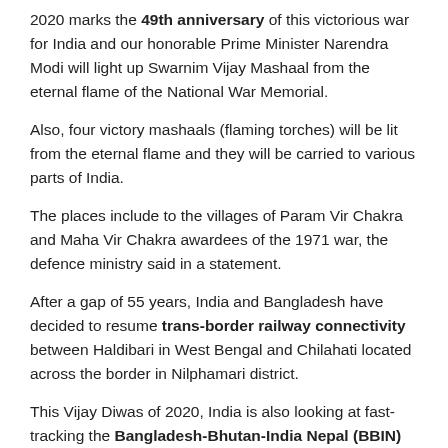2020 marks the 49th anniversary of this victorious war for India and our honorable Prime Minister Narendra Modi will light up Swarnim Vijay Mashaal from the eternal flame of the National War Memorial.
Also, four victory mashaals (flaming torches) will be lit from the eternal flame and they will be carried to various parts of India.
The places include to the villages of Param Vir Chakra and Maha Vir Chakra awardees of the 1971 war, the defence ministry said in a statement.
After a gap of 55 years, India and Bangladesh have decided to resume trans-border railway connectivity between Haldibari in West Bengal and Chilahati located across the border in Nilphamari district.
This Vijay Diwas of 2020, India is also looking at fast-tracking the Bangladesh-Bhutan-India Nepal (BBIN)